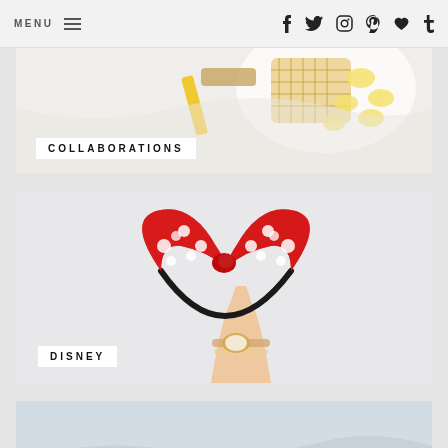MENU (navigation bar with social icons: Facebook, Twitter, Instagram, Pinterest, Heart, Tumblr)
[Figure (photo): Top-down view of waffles with banana slices on a white plate, with a yellow tube/stick beside it on a white surface. Category label: COLLABORATIONS]
[Figure (photo): A hand holding up a red polka-dot Minnie Mouse bow headband against a light grey background. A gold watch and bracelets visible on the wrist. Category label: DISNEY]
[Figure (photo): Partial view of a hand with a ring against a blurred outdoor background with sky and hills. Category partially visible.]